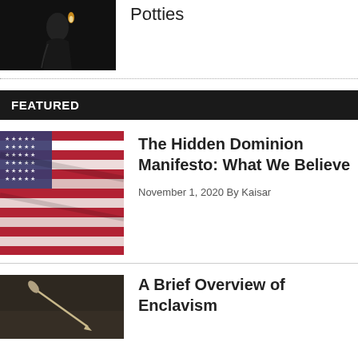[Figure (photo): Dark photo of a person or figure with a candle flame, black background]
Potties
FEATURED
[Figure (photo): Close-up of an American flag with red, white, and blue stripes and stars]
The Hidden Dominion Manifesto: What We Believe
November 1, 2020 By Kaisar
[Figure (photo): Dark photo of a pen or quill on a surface]
A Brief Overview of Enclavism